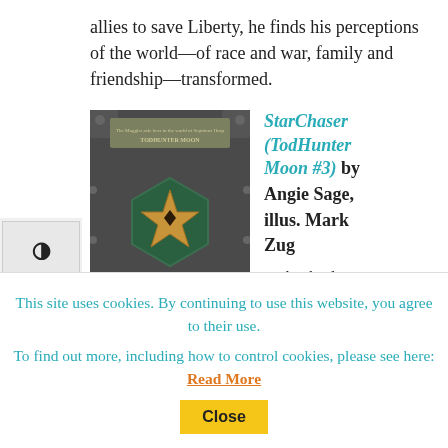allies to save Liberty, he finds his perceptions of the world—of race and war, family and friendship—transformed.
[Figure (photo): Book cover of StarChaser (TodHunter Moon #3) showing a hexagonal emblem with a star shape on a dark metallic background, with the title STARCHASER in large gold letters]
StarChaser (TodHunter Moon #3) by Angie Sage, illus. Mark Zug

In the third and final
This site uses cookies. By continuing to use this website, you agree to their use.
To find out more, including how to control cookies, please see here: Read More
Close